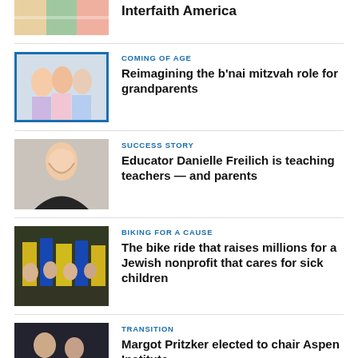[Figure (photo): Partial thumbnail of colorful image at top]
Interfaith America
[Figure (photo): Group of people at an event, coming of age theme]
COMING OF AGE
Reimagining the b'nai mitzvah role for grandparents
[Figure (photo): Woman in black jacket, success story]
SUCCESS STORY
Educator Danielle Freilich is teaching teachers — and parents
[Figure (photo): Bike ride crowd with yellow and blue flags]
BIKING FOR A CAUSE
The bike ride that raises millions for a Jewish nonprofit that cares for sick children
[Figure (photo): Two people in formal wear, transition story]
TRANSITION
Margot Pritzker elected to chair Aspen Institute
[Figure (photo): Partial thumbnail at bottom]